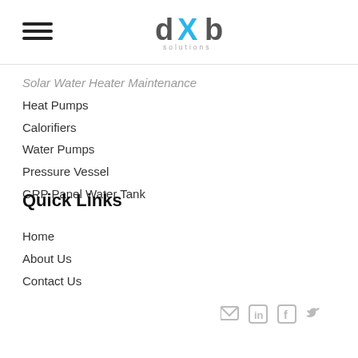[Figure (logo): dXb Solutions logo with hamburger menu icon on left]
Solar Water Heater Maintenance
Heat Pumps
Calorifiers
Water Pumps
Pressure Vessel
GRP Panel Water Tank
Quick Links
Home
About Us
Contact Us
[Figure (other): Social media icons: email, LinkedIn, Facebook, Twitter in light gray]